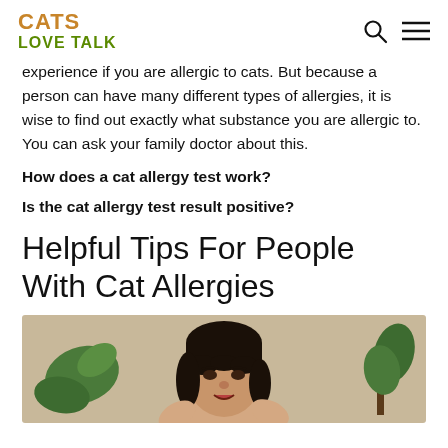CATS LOVE TALK
experience if you are allergic to cats. But because a person can have many different types of allergies, it is wise to find out exactly what substance you are allergic to. You can ask your family doctor about this.
How does a cat allergy test work?
Is the cat allergy test result positive?
Helpful Tips For People With Cat Allergies
[Figure (photo): A woman with dark hair and bangs speaking, with plants visible on either side in the background]